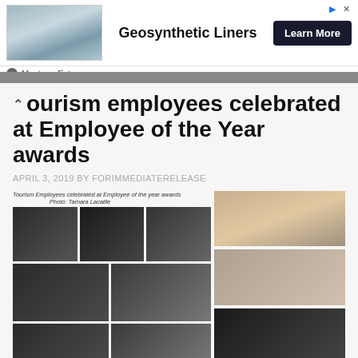[Figure (photo): Advertisement banner for Geosyntehtic Liners by Mustang Extreme, with a landscape photo, bold text 'Geosynthetic Liners', and a 'Learn More' button]
Tourism employees celebrated at Employee of the Year awards
APRIL 3, 2019 BY FORIMMEDIATERELEASE
[Figure (photo): Photo collage of tourism employees celebrated at Employee of the Year awards ceremony, showing multiple photos of award presentations and group shots]